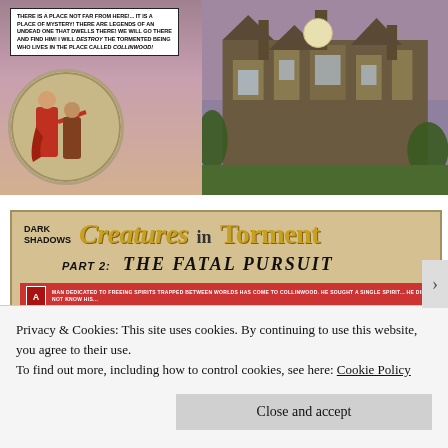[Figure (illustration): Comic book panel showing a speech bubble with text about a place of mystery and an undead creature at Collinwood, with a circular inset of two figures (one in red coat) and a gothic mansion in the background with a moon in the night sky.]
[Figure (illustration): Dark Shadows comic title panel reading 'Creatures in Torment - Part 2: The Fatal Pursuit' with a red banner synopsis at the bottom, tan/gold background with stylized lettering.]
Privacy & Cookies: This site uses cookies. By continuing to use this website, you agree to their use.
To find out more, including how to control cookies, see here: Cookie Policy
Close and accept